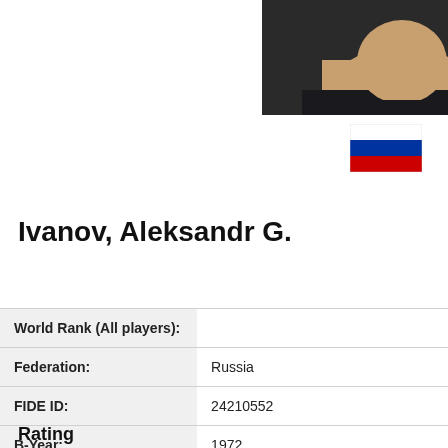[Figure (photo): Cropped photo of a person wearing a dark shirt, showing neck and shoulders area, partially visible]
[Figure (illustration): Russian flag — three horizontal stripes: white, blue, red]
Ivanov, Aleksandr G.
| World Rank (All players): |  |
| Federation: | Russia |
| FIDE ID: | 24210552 |
| B-Year: | 1972 |
| Sex: | Male |
| FIDE title: | None |
Rating